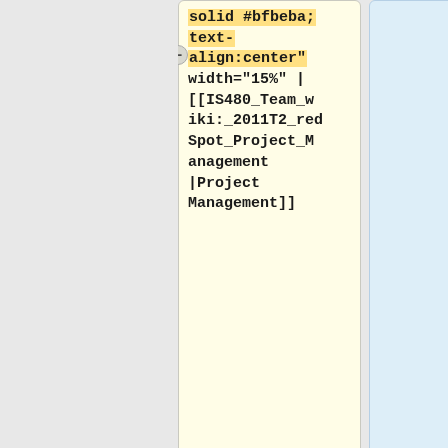solid #bfbeba; text-align:center" width="15%" | [[IS480_Team_wiki:_2011T2_redSpot_Project_Management|Project Management]]
<center>
| style="border-bottom:1px solid #bfbeba; background:none;" width="2%" | &nbsp;
<center>
| style="padding:0.3em; background-color:#fed5cf;
{| style="background-color:#ffffff; border: 1px solid #e01e1e;